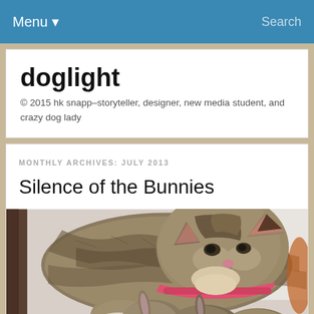Menu ▼   Search
doglight
© 2015 hk snapp–storyteller, designer, new media student, and crazy dog lady
MONTHLY ARCHIVES: JULY 2013
Silence of the Bunnies
[Figure (photo): A tabby cat with a pink collar leaning down to sniff or nuzzle several small baby bunnies on a red surface. The photo is taken indoors with a light background.]